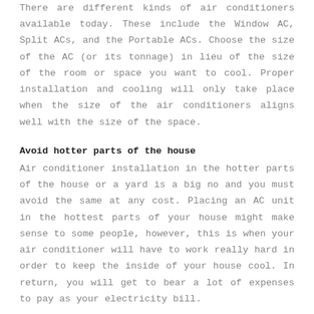There are different kinds of air conditioners available today. These include the Window AC, Split ACs, and the Portable ACs. Choose the size of the AC (or its tonnage) in lieu of the size of the room or space you want to cool. Proper installation and cooling will only take place when the size of the air conditioners aligns well with the size of the space.
Avoid hotter parts of the house
Air conditioner installation in the hotter parts of the house or a yard is a big no and you must avoid the same at any cost. Placing an AC unit in the hottest parts of your house might make sense to some people, however, this is when your air conditioner will have to work really hard in order to keep the inside of your house cool. In return, you will get to bear a lot of expenses to pay as your electricity bill.
No installation near fire hazards